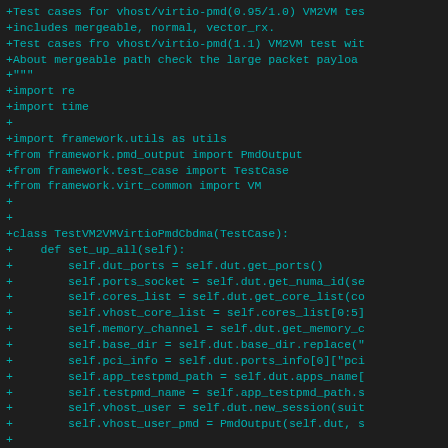[Figure (screenshot): Code diff showing Python test file for vhost/virtio-pmd VM2VM test cases with class definition and set_up_all method]